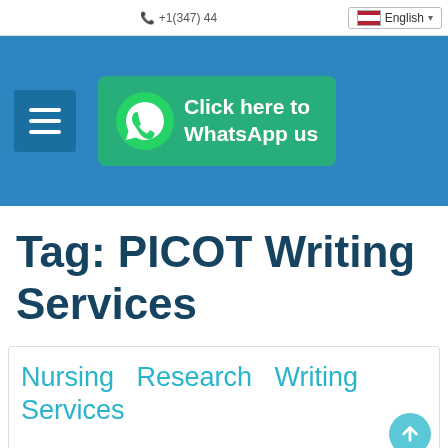+1(347) 44... English
[Figure (screenshot): Blue header bar with hamburger menu button and green WhatsApp click-here button]
Tag: PICOT Writing Services
Nursing Research Writing Services